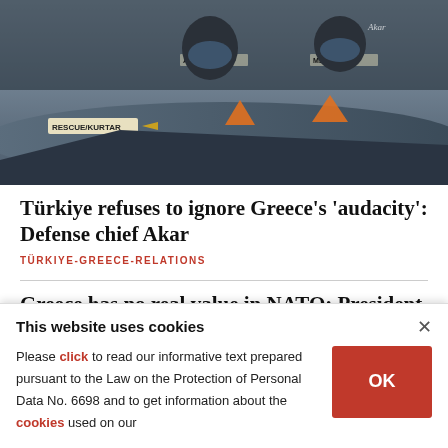[Figure (photo): Photo of military fighter jet cockpit with pilots, showing text labels 'ALB.SOYLU' and 'MSS.AKAR', with 'RESCUE/KURTAR' label visible on the aircraft fuselage and orange triangular warning markers.]
Türkiye refuses to ignore Greece's 'audacity': Defense chief Akar
TÜRKIYE-GREECE-RELATIONS
Greece has no real value in NATO: President Erdoğan
TÜRKIYE-GREECE-RELATIONS
This website uses cookies
Please click to read our informative text prepared pursuant to the Law on the Protection of Personal Data No. 6698 and to get information about the cookies used on our